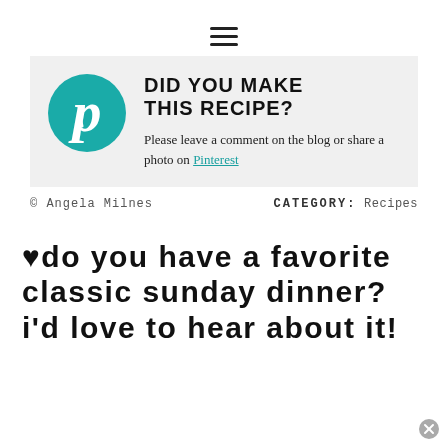≡
[Figure (infographic): Pinterest logo circle with 'p' in teal/green color, followed by bold text 'DID YOU MAKE THIS RECIPE?' and body text 'Please leave a comment on the blog or share a photo on Pinterest' with Pinterest as a teal hyperlink, all on a light gray background.]
© Angela Milnes    CATEGORY: Recipes
♥do you have a favorite classic sunday dinner? i'd love to hear about it!